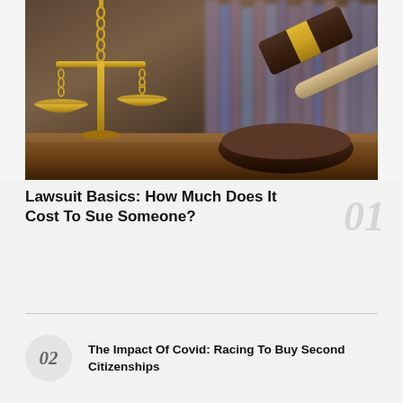[Figure (photo): Photo of a gold scales of justice on the left and a wooden judge's gavel with gold band resting on a sound block on the right, both on a wooden table with blurred bookshelves in the background.]
Lawsuit Basics: How Much Does It Cost To Sue Someone?
01
02  The Impact Of Covid: Racing To Buy Second Citizenships
03  What To Do When An Online Casino Refuses To Pay Out